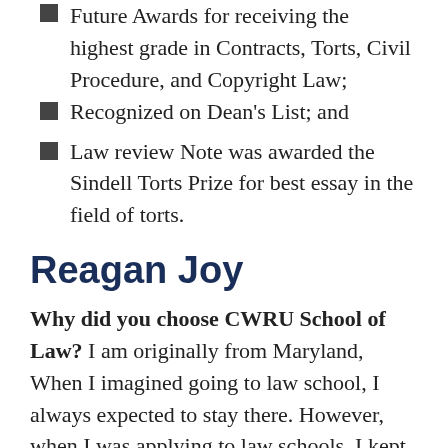Future Awards for receiving the highest grade in Contracts, Torts, Civil Procedure, and Copyright Law;
Recognized on Dean's List; and
Law review Note was awarded the Sindell Torts Prize for best essay in the field of torts.
Reagan Joy
Why did you choose CWRU School of Law? I am originally from Maryland, When I imagined going to law school, I always expected to stay there. However, when I was applying to law schools, I kept reading ads from CWRU School of Law that said things like: collaborative, community, and experiential education. These were all the